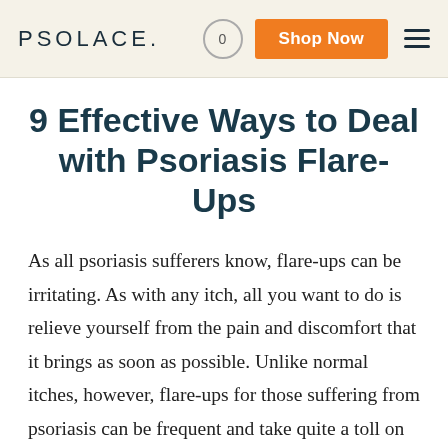PSOLACE.  0  Shop Now
9 Effective Ways to Deal with Psoriasis Flare-Ups
As all psoriasis sufferers know, flare-ups can be irritating. As with any itch, all you want to do is relieve yourself from the pain and discomfort that it brings as soon as possible. Unlike normal itches, however, flare-ups for those suffering from psoriasis can be frequent and take quite a toll on their quality of life. Flare-ups happen due to many reasons, but there are times when it just seems to emerge out of nowhere. That's why you have